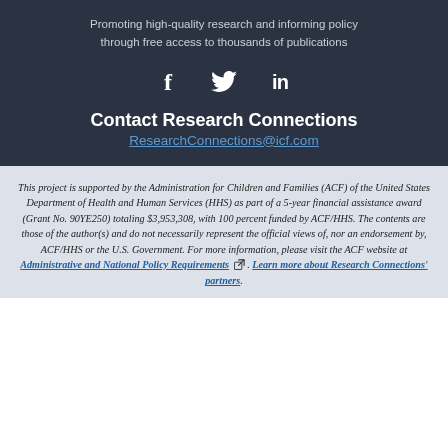Promoting high-quality research and informing policy through free access to thousands of publications
[Figure (infographic): Social media icons: Facebook (f), Twitter (bird), LinkedIn (in) displayed in white on dark background]
Contact Research Connections
ResearchConnections@icf.com
This project is supported by the Administration for Children and Families (ACF) of the United States Department of Health and Human Services (HHS) as part of a 5-year financial assistance award (Grant No. 90YE250) totaling $3,953,308, with 100 percent funded by ACF/HHS. The contents are those of the author(s) and do not necessarily represent the official views of, nor an endorsement by, ACF/HHS or the U.S. Government. For more information, please visit the ACF website at Administrative and National Policy Requirements . Learn more about Research Connections' partners.